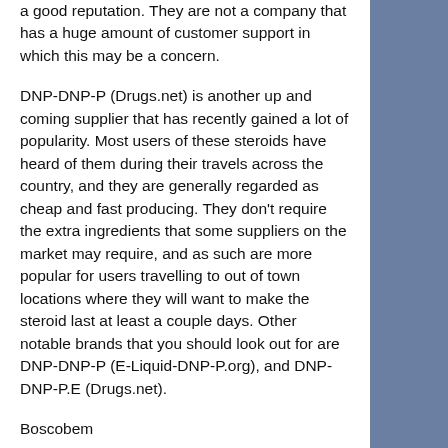a good reputation. They are not a company that has a huge amount of customer support in which this may be a concern.
DNP-DNP-P (Drugs.net) is another up and coming supplier that has recently gained a lot of popularity. Most users of these steroids have heard of them during their travels across the country, and they are generally regarded as cheap and fast producing. They don't require the extra ingredients that some suppliers on the market may require, and as such are more popular for users travelling to out of town locations where they will want to make the steroid last at least a couple days. Other notable brands that you should look out for are DNP-DNP-P (E-Liquid-DNP-P.org), and DNP-DNP-P.E (Drugs.net).
Boscobem